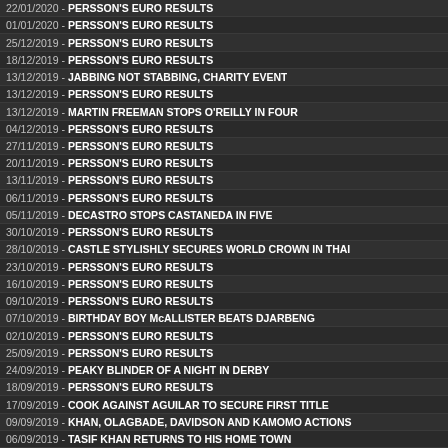22/01/2020 - PERSSON'S EURO RESULTS
01/01/2020 - PERSSON'S EURO RESULTS
25/12/2019 - PERSSON'S EURO RESULTS
18/12/2019 - PERSSON'S EURO RESULTS
13/12/2019 - JABBING NOT STABBING, CHARITY EVENT
13/12/2019 - PERSSON'S EURO RESULTS
13/12/2019 - MARTIN FREEMAN STOPS O'REILLY IN FOUR
04/12/2019 - PERSSON'S EURO RESULTS
27/11/2019 - PERSSON'S EURO RESULTS
20/11/2019 - PERSSON'S EURO RESULTS
13/11/2019 - PERSSON'S EURO RESULTS
06/11/2019 - PERSSON'S EURO RESULTS
05/11/2019 - DECASTRO STOPS CASTANEDA IN FIVE
30/10/2019 - PERSSON'S EURO RESULTS
28/10/2019 - CASTLE STYLISHLY SECURES WORLD CROWN IN THAI
23/10/2019 - PERSSON'S EURO RESULTS
16/10/2019 - PERSSON'S EURO RESULTS
09/10/2019 - PERSSON'S EURO RESULTS
07/10/2019 - BIRTHDAY BOY McALLISTER BEATS DJARBENG
02/10/2019 - PERSSON'S EURO RESULTS
25/09/2019 - PERSSON'S EURO RESULTS
24/09/2019 - PEAKY BLINDER OF A NIGHT IN DERBY
18/09/2019 - PERSSON'S EURO RESULTS
17/09/2019 - COOK AGAINST AGUILAR TO SECURE FIRST TITLE
09/09/2019 - KHAN, OLAGBADE, DAVIDSON AND KAMOMO ACTIONS
06/09/2019 - TASIF KHAN RETURNS TO HIS HOME TOWN